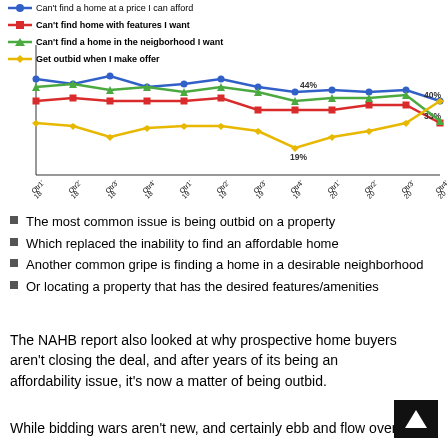[Figure (line-chart): Reasons buyers can't find homes]
The most common issue is being outbid on a property
Which replaced the inability to find an affordable home
Another common gripe is finding a home in a desirable neighborhood
Or locating a property that has the desired features/amenities
The NAHB report also looked at why prospective home buyers aren't closing the deal, and after years of its being an affordability issue, it's now a matter of being outbid.
While bidding wars aren't new, and certainly ebb and flow over